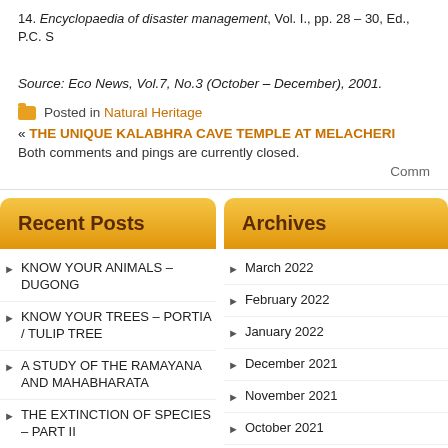14. Encyclopaedia of disaster management, Vol. I., pp. 28 – 30, Ed., P.C. S
Source: Eco News, Vol.7, No.3 (October – December), 2001.
Posted in Natural Heritage
« THE UNIQUE KALABHRA CAVE TEMPLE AT MELACHERI
Both comments and pings are currently closed.
Comm
Recent Posts
KNOW YOUR ANIMALS – DUGONG
KNOW YOUR TREES – PORTIA / TULIP TREE
A STUDY OF THE RAMAYANA AND MAHABHARATA
THE EXTINCTION OF SPECIES – PART II
THE EXTINCTION OF SPECIES – PART I
Archives
March 2022
February 2022
January 2022
December 2021
November 2021
October 2021